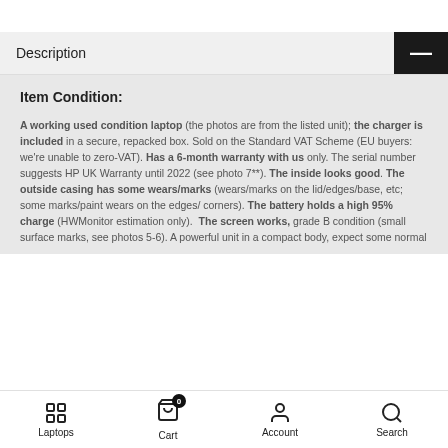Description
Item Condition:

A working used condition laptop (the photos are from the listed unit); the charger is included in a secure, repacked box. Sold on the Standard VAT Scheme (EU buyers: we're unable to zero-VAT). Has a 6-month warranty with us only. The serial number suggests HP UK Warranty until 2022 (see photo 7**). The inside looks good. The outside casing has some wears/marks (wears/marks on the lid/edges/base, etc; some marks/paint wears on the edges/ corners). The battery holds a high 95% charge (HWMonitor estimation only). The screen works, grade B condition (small surface marks, see photos 5-6). A powerful unit in a compact body, expect some normal
Laptops  Cart 0  Account  Search